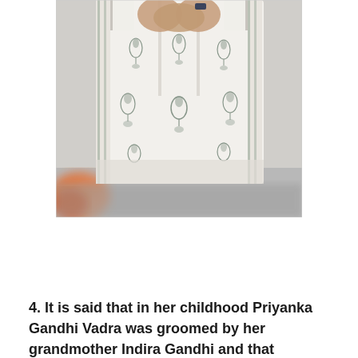[Figure (photo): Close-up photo of a person wearing a white Indian traditional outfit (kurta/salwar) with dark blue/grey block print floral and pineapple motifs. The person has their hands clasped together. In the lower-left foreground there is a blurred orange/red object and a blurred grey surface.]
4. It is said that in her childhood Priyanka Gandhi Vadra was groomed by her grandmother Indira Gandhi and that